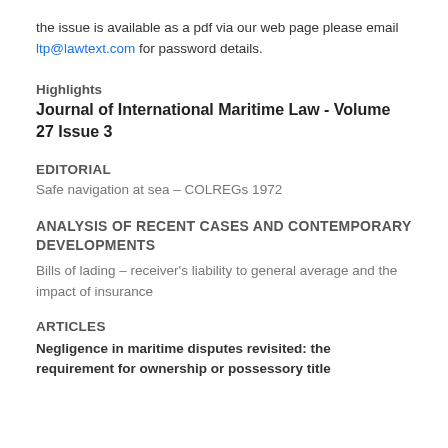the issue is available as a pdf via our web page please email ltp@lawtext.com for password details.
Highlights
Journal of International Maritime Law - Volume 27 Issue 3
EDITORIAL
Safe navigation at sea – COLREGs 1972
ANALYSIS OF RECENT CASES AND CONTEMPORARY DEVELOPMENTS
Bills of lading – receiver's liability to general average and the impact of insurance
ARTICLES
Negligence in maritime disputes revisited: the requirement for ownership or possessory title